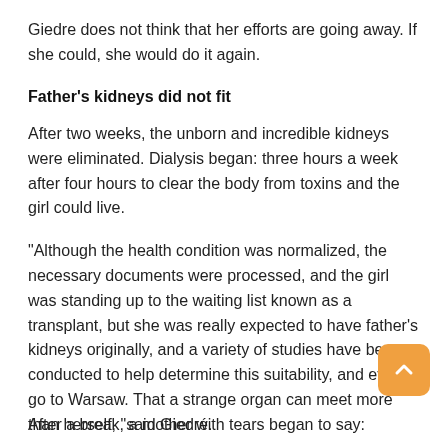Giedre does not think that her efforts are going away. If she could, she would do it again.
Father's kidneys did not fit
After two weeks, the unborn and incredible kidneys were eliminated. Dialysis began: three hours a week after four hours to clear the body from toxins and the girl could live.
"Although the health condition was normalized, the necessary documents were processed, and the girl was standing up to the waiting list known as a transplant, but she was really expected to have father's kidneys originally, and a variety of studies have been conducted to help determine this suitability, and even go to Warsaw. That a strange organ can meet more than herself, "said Giedré.
After a while, the family learned to live in rhythm: dialysis – school – house. Home Gudauskams was the hardest one. When asked to explain what is meant, it came a long time.
After a break, a mother with tears began to say: "When you take your...